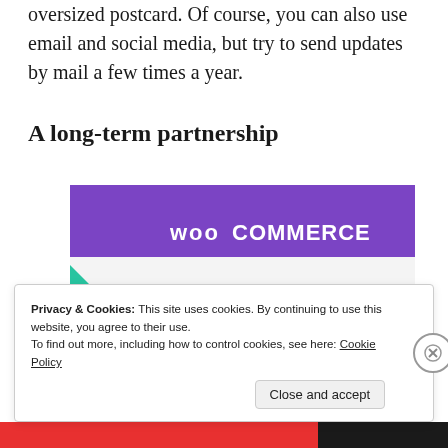oversized postcard. Of course, you can also use email and social media, but try to send updates by mail a few times a year.
A long-term partnership
[Figure (screenshot): WooCommerce promotional image showing 'How to start selling subscriptions online' with purple header bar, teal triangle shape on left, and blue curved shape on right.]
Privacy & Cookies: This site uses cookies. By continuing to use this website, you agree to their use.
To find out more, including how to control cookies, see here: Cookie Policy
Close and accept